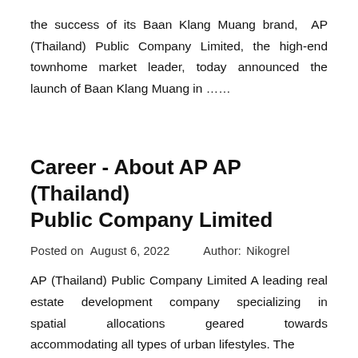the success of its Baan Klang Muang brand,  AP (Thailand) Public Company Limited, the high-end townhome market leader, today announced the launch of Baan Klang Muang in ……
Career - About AP AP (Thailand) Public Company Limited
Posted on  August 6, 2022    Author: Nikogrel
AP (Thailand) Public Company Limited A leading real estate development company specializing in spatial allocations geared towards accommodating all types of urban lifestyles. The